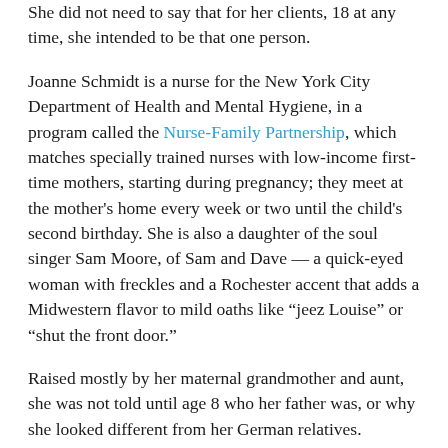She did not need to say that for her clients; 18 at any time, she intended to be that one person.
Joanne Schmidt is a nurse for the New York City Department of Health and Mental Hygiene, in a program called the Nurse-Family Partnership, which matches specially trained nurses with low-income first-time mothers, starting during pregnancy; they meet at the mother's home every week or two until the child's second birthday. She is also a daughter of the soul singer Sam Moore, of Sam and Dave — a quick-eyed woman with freckles and a Rochester accent that adds a Midwestern flavor to mild oaths like “jeez Louise” or “shut the front door.”
Raised mostly by her maternal grandmother and aunt, she was not told until age 8 who her father was, or why she looked different from her German relatives.
After high school, she said, “that’s kind of when my life went — ” she made a screeching sound like a rocket veering out of control. “I didn’t realize I was following my mother.” For years she was by her description a “groupie” on the hip-hop scene; now she is a Christian, a PTA president, a mother to a 16-year-old and a partner with his